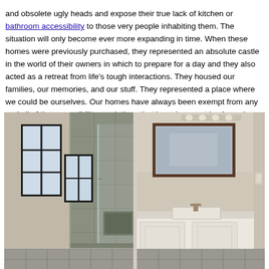and obsolete ugly heads and expose their true lack of kitchen or bathroom accessibility to those very people inhabiting them. The situation will only become ever more expanding in time. When these homes were previously purchased, they represented an absolute castle in the world of their owners in which to prepare for a day and they also acted as a retreat from life's tough interactions. They housed our families, our memories, and our stuff. They represented a place where we could be ourselves. Our homes have always been exempt from any and all of the accessibility regulations that have been put in place since 1968 when our Viet Nam veterans were returning home.
[Figure (photo): Two-panel bathroom photo showing: left panel - accessible walk-in shower with glass doors, tiled walls, a window, and a built-in bench; right panel - bathroom vanity area with a large framed mirror, overhead lighting, and a white floating vanity with sink.]